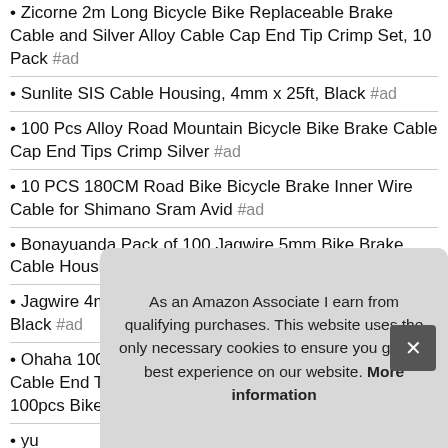Zicorne 2m Long Bicycle Bike Replaceable Brake Cable and Silver Alloy Cable Cap End Tip Crimp Set, 10 Pack #ad
Sunlite SIS Cable Housing, 4mm x 25ft, Black #ad
100 Pcs Alloy Road Mountain Bicycle Bike Brake Cable Cap End Tips Crimp Silver #ad
10 PCS 180CM Road Bike Bicycle Brake Inner Wire Cable for Shimano Sram Avid #ad
Bonayuanda Pack of 100 Jagwire 5mm Bike Brake Cable Housing Ferrule End Caps (5mm) #ad
Jagwire 4mm Derailleur Housing w/ L3 Liner, Roll/25 Black #ad
Ohaha 100pcs Road Mountain Bicycle Bike Alloy Brake Cable End Tips Crimps Ferrules Caps Silver Tone W 100pcs Bike brake cable caps #ad
yu Hou
Sh
As an Amazon Associate I earn from qualifying purchases. This website uses the only necessary cookies to ensure you get the best experience on our website. More information